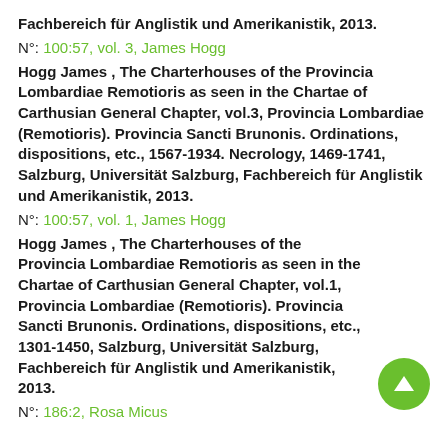Fachbereich für Anglistik und Amerikanistik, 2013.
N°: 100:57, vol. 3, James Hogg
Hogg James , The Charterhouses of the Provincia Lombardiae Remotioris as seen in the Chartae of Carthusian General Chapter, vol.3, Provincia Lombardiae (Remotioris). Provincia Sancti Brunonis. Ordinations, dispositions, etc., 1567-1934. Necrology, 1469-1741, Salzburg, Universität Salzburg, Fachbereich für Anglistik und Amerikanistik, 2013.
N°: 100:57, vol. 1, James Hogg
Hogg James , The Charterhouses of the Provincia Lombardiae Remotioris as seen in the Chartae of Carthusian General Chapter, vol.1, Provincia Lombardiae (Remotioris). Provincia Sancti Brunonis. Ordinations, dispositions, etc., 1301-1450, Salzburg, Universität Salzburg, Fachbereich für Anglistik und Amerikanistik, 2013.
N°: 186:2, Rosa Micus